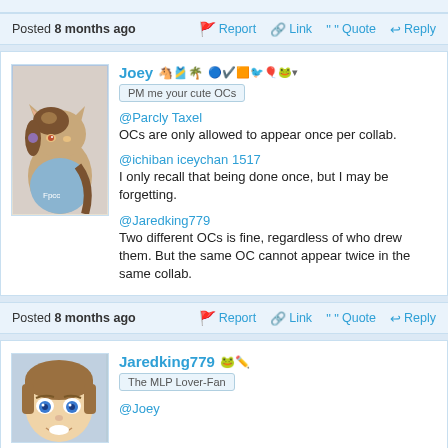Posted 8 months ago   Report   Link   Quote   Reply
Joey
PM me your cute OCs
@Parcly Taxel
OCs are only allowed to appear once per collab.
@ichiban iceychan 1517
I only recall that being done once, but I may be forgetting.
@Jaredking779
Two different OCs is fine, regardless of who drew them. But the same OC cannot appear twice in the same collab.
Posted 8 months ago   Report   Link   Quote   Reply
Jaredking779
The MLP Lover-Fan
@Joey